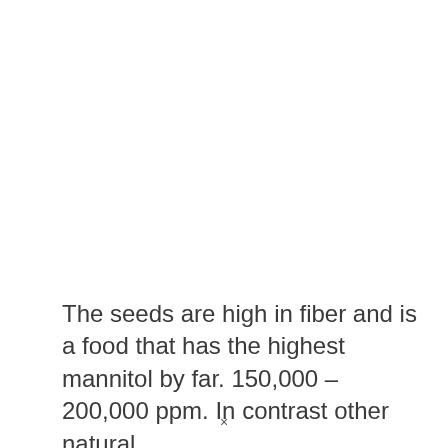The seeds are high in fiber and is a food that has the highest mannitol by far. 150,000 – 200,000 ppm. In contrast other natural